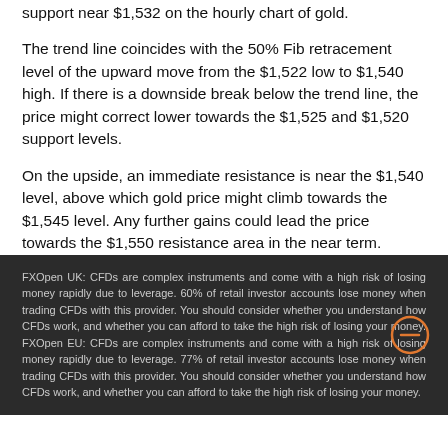support near $1,532 on the hourly chart of gold.
The trend line coincides with the 50% Fib retracement level of the upward move from the $1,522 low to $1,540 high. If there is a downside break below the trend line, the price might correct lower towards the $1,525 and $1,520 support levels.
On the upside, an immediate resistance is near the $1,540 level, above which gold price might climb towards the $1,545 level. Any further gains could lead the price towards the $1,550 resistance area in the near term.
FXOpen UK: CFDs are complex instruments and come with a high risk of losing money rapidly due to leverage. 60% of retail investor accounts lose money when trading CFDs with this provider. You should consider whether you understand how CFDs work, and whether you can afford to take the high risk of losing your money. FXOpen EU: CFDs are complex instruments and come with a high risk of losing money rapidly due to leverage. 77% of retail investor accounts lose money when trading CFDs with this provider. You should consider whether you understand how CFDs work, and whether you can afford to take the high risk of losing your money.